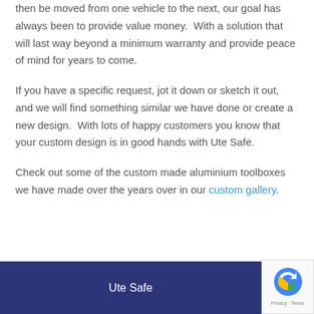then be moved from one vehicle to the next, our goal has always been to provide value money.  With a solution that will last way beyond a minimum warranty and provide peace of mind for years to come.
If you have a specific request, jot it down or sketch it out, and we will find something similar we have done or create a new design.  With lots of happy customers you know that your custom design is in good hands with Ute Safe.
Check out some of the custom made aluminium toolboxes we have made over the years over in our custom gallery.
Ute Safe